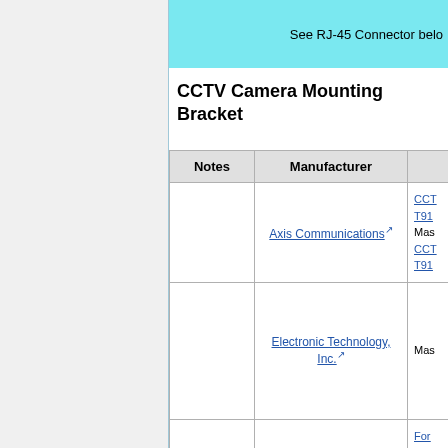See RJ-45 Connector belo
CCTV Camera Mounting Bracket
| Notes | Manufacturer |  |
| --- | --- | --- |
|  | Axis Communications | CCT
T91
Mas
CCT
T91 |
|  | Electronic Technology, Inc. | Mas |
|  | Panasonic | For
Goo |